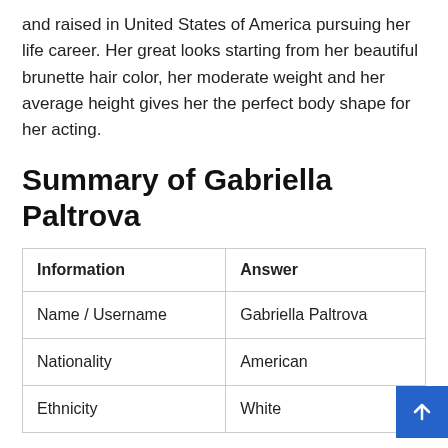and raised in United States of America pursuing her life career. Her great looks starting from her beautiful brunette hair color, her moderate weight and her average height gives her the perfect body shape for her acting.
Summary of Gabriella Paltrova
| Information | Answer |
| --- | --- |
| Name / Username | Gabriella Paltrova |
| Nationality | American |
| Ethnicity | White |